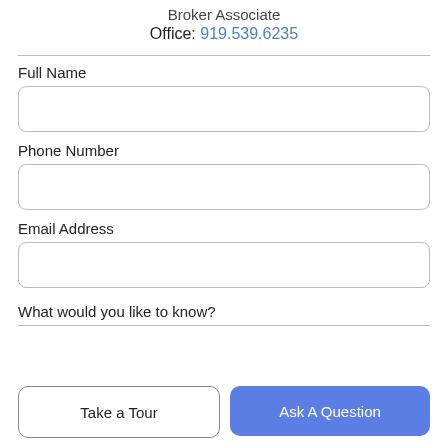Broker Associate
Office: 919.539.6235
Full Name
Phone Number
Email Address
What would you like to know?
Take a Tour
Ask A Question